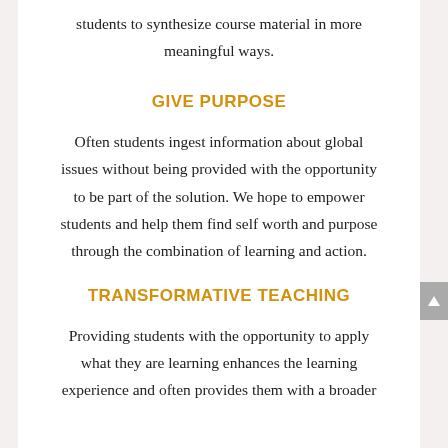students to synthesize course material in more meaningful ways.
GIVE PURPOSE
Often students ingest information about global issues without being provided with the opportunity to be part of the solution. We hope to empower students and help them find self worth and purpose through the combination of learning and action.
TRANSFORMATIVE TEACHING
Providing students with the opportunity to apply what they are learning enhances the learning experience and often provides them with a broader